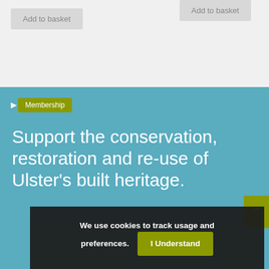[Figure (screenshot): Top section with light grey background showing two 'Add to basket' buttons, one on the left and one partially visible on the right.]
Add to basket
Add to basket
[Figure (screenshot): Blue section with Membership tag, headline text, scroll-to-top button, and cookie consent bar overlay.]
Membership
Support the conservation, restoration and re-use of Ulster's built heritage.
We use cookies to track usage and preferences.  I Understand